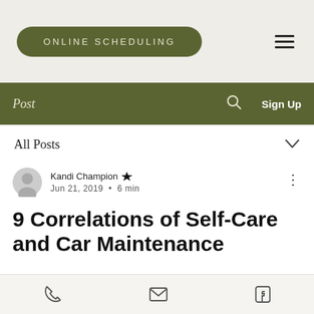[Figure (screenshot): Navigation bar with 'ONLINE SCHEDULING' green pill button and hamburger menu icon on grey background]
Post   🔍   Sign Up
All Posts ∨
Kandi Champion 👑
Jun 21, 2019 • 6 min
9 Correlations of Self-Care and Car Maintenance
Phone  Email  Facebook